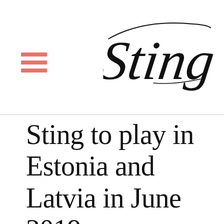Sting (logo)
Sting to play in Estonia and Latvia in June 2019...
December 12, 2018
Cherrytree Management and Live Nation and FBI.lv have confirmed that Sting: My Songs will tour Europe